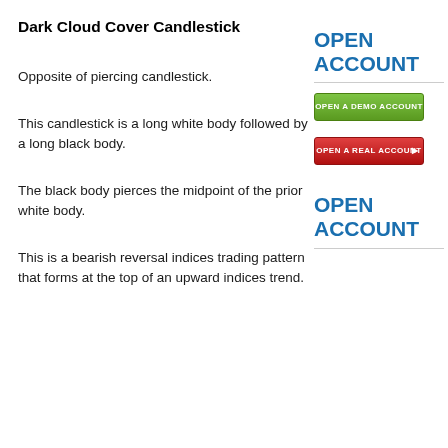Dark Cloud Cover Candlestick
Opposite of piercing candlestick.
This candlestick is a long white body followed by a long black body.
[Figure (other): Green 'OPEN A DEMO ACCOUNT' button]
[Figure (other): Red 'OPEN A REAL ACCOUNT' button]
The black body pierces the midpoint of the prior white body.
This is a bearish reversal indices trading pattern that forms at the top of an upward indices trend.